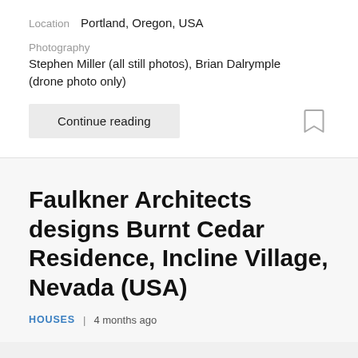Location   Portland, Oregon, USA
Photography
Stephen Miller (all still photos), Brian Dalrymple (drone photo only)
Continue reading
Faulkner Architects designs Burnt Cedar Residence, Incline Village, Nevada (USA)
HOUSES  |  4 months ago